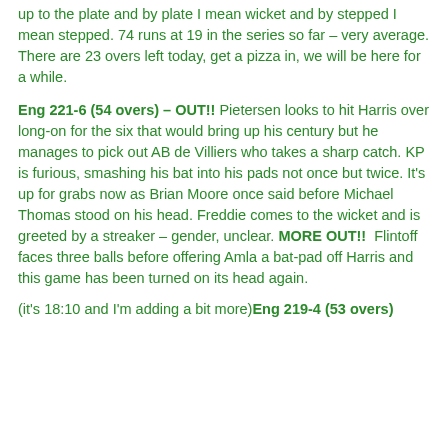up to the plate and by plate I mean wicket and by stepped I mean stepped. 74 runs at 19 in the series so far – very average. There are 23 overs left today, get a pizza in, we will be here for a while.
Eng 221-6 (54 overs) – OUT!! Pietersen looks to hit Harris over long-on for the six that would bring up his century but he manages to pick out AB de Villiers who takes a sharp catch. KP is furious, smashing his bat into his pads not once but twice. It's up for grabs now as Brian Moore once said before Michael Thomas stood on his head. Freddie comes to the wicket and is greeted by a streaker – gender, unclear. MORE OUT!!  Flintoff faces three balls before offering Amla a bat-pad off Harris and this game has been turned on its head again.
(it's 18:10 and I'm adding a bit more) Eng 219-4 (53 overs)